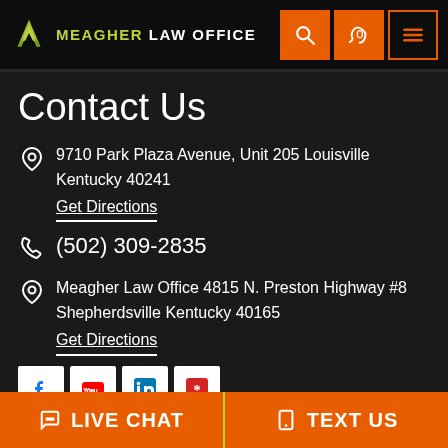MEAGHER LAW OFFICE
Contact Us
9710 Park Plaza Avenue, Unit 205 Louisville Kentucky 40241
Get Directions
(502) 309-2835
Meagher Law Office 4815 N. Preston Highway #8 Shepherdsville Kentucky 40165
Get Directions
[Figure (logo): Social media icons: Facebook, YouTube, LinkedIn, Yelp]
LIVE CHAT   TEXT US